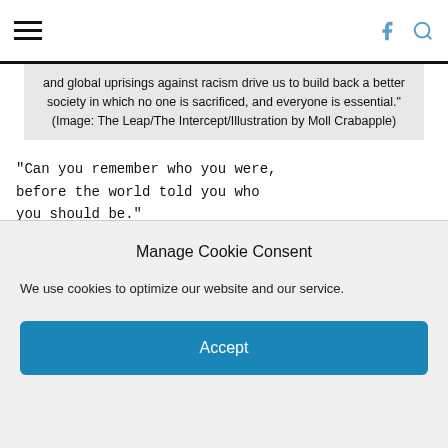Navigation bar with hamburger menu, Facebook icon, and search icon
and global uprisings against racism drive us to build back a better society in which no one is sacrificed, and everyone is essential." (Image: The Leap/The Intercept/Illustration by Moll Crabapple)
“Can you remember who you were, before the world told you who you should be.” –Charles Bukowski
BE YOUR LIFE
“Your life is your life. Don’t let it be clubbed into dank submission. Be on the watch. There are ways out. There is light somewhere. It may not
Manage Cookie Consent
We use cookies to optimize our website and our service.
Accept